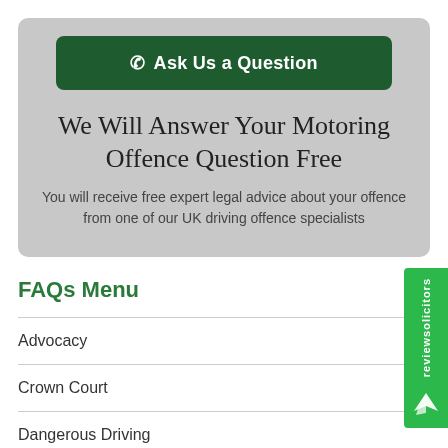[Figure (other): Green button with phone icon labeled 'Ask Us a Question']
We Will Answer Your Motoring Offence Question Free
You will receive free expert legal advice about your offence from one of our UK driving offence specialists
FAQs Menu
Advocacy
Crown Court
Dangerous Driving
[Figure (logo): reviewsolicitors green vertical badge with wing logo]